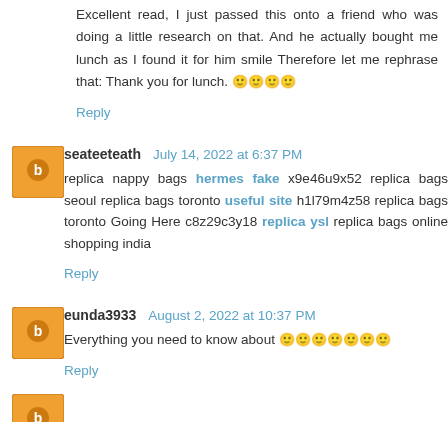Excellent read, I just passed this onto a friend who was doing a little research on that. And he actually bought me lunch as I found it for him smile Therefore let me rephrase that: Thank you for lunch. 🙂🙂🙂🙂
Reply
seateeteath  July 14, 2022 at 6:37 PM
replica nappy bags hermes fake x9e46u9x52 replica bags seoul replica bags toronto useful site h1l79m4z58 replica bags toronto Going Here c8z29c3y18 replica ysl replica bags online shopping india
Reply
eunda3933  August 2, 2022 at 10:37 PM
Everything you need to know about 🙂🙂🙂🙂🙂🙂🙂
Reply